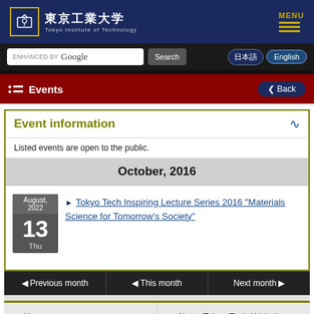東京工業大学 Tokyo Institute of Technology — MENU
ENHANCED BY Google Search 日本語 English
Events Back
Event information
Listed events are open to the public.
October, 2016
August, 2022 13 Thu — Tokyo Tech Inspiring Lecture Series 2016 "Materials Science for Tomorrow's Society"
◄ Previous month   ◄ This month   Next month ►
▸ Home   ▸ About Tokyo Tech Website